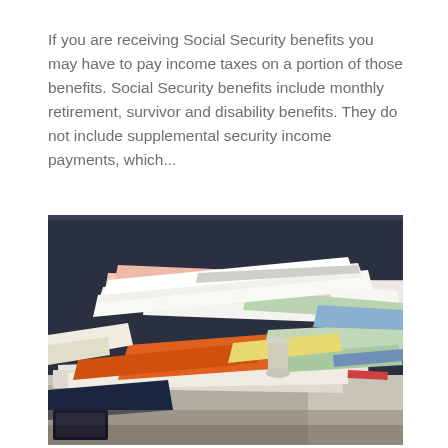If you are receiving Social Security benefits you may have to pay income taxes on a portion of those benefits. Social Security benefits include monthly retirement, survivor and disability benefits. They do not include supplemental security income payments, which...
[Figure (photo): A large messy pile of papers, folders, and documents stacked on a surface, photographed up close with a dark background.]